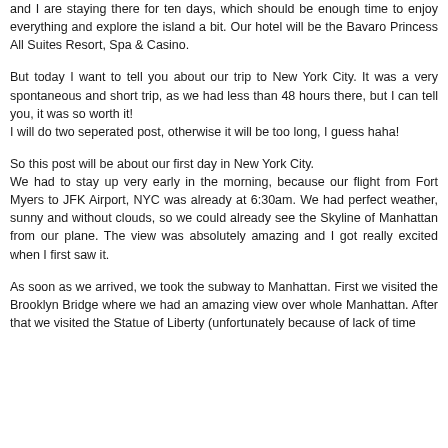and I are staying there for ten days, which should be enough time to enjoy everything and explore the island a bit. Our hotel will be the Bavaro Princess All Suites Resort, Spa & Casino.
But today I want to tell you about our trip to New York City. It was a very spontaneous and short trip, as we had less than 48 hours there, but I can tell you, it was so worth it! I will do two seperated post, otherwise it will be too long, I guess haha!
So this post will be about our first day in New York City. We had to stay up very early in the morning, because our flight from Fort Myers to JFK Airport, NYC was already at 6:30am. We had perfect weather, sunny and without clouds, so we could already see the Skyline of Manhattan from our plane. The view was absolutely amazing and I got really excited when I first saw it.
As soon as we arrived, we took the subway to Manhattan. First we visited the Brooklyn Bridge where we had an amazing view over whole Manhattan. After that we visited the State of Liberty (unfortunately because of lack of time